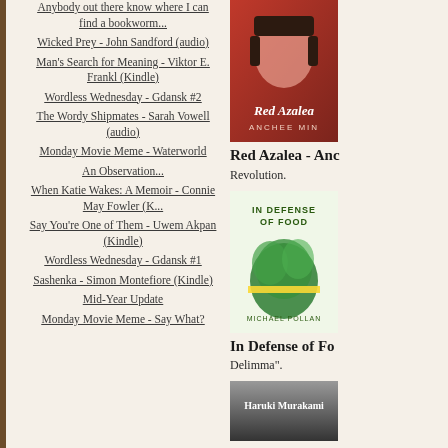Anybody out there know where I can find a bookworm...
Wicked Prey - John Sandford (audio)
Man's Search for Meaning - Viktor E. Frankl (Kindle)
Wordless Wednesday - Gdansk #2
The Wordy Shipmates - Sarah Vowell (audio)
Monday Movie Meme - Waterworld
An Observation...
When Katie Wakes: A Memoir - Connie May Fowler (K...
Say You're One of Them - Uwem Akpan (Kindle)
Wordless Wednesday - Gdansk #1
Sashenka - Simon Montefiore (Kindle)
Mid-Year Update
Monday Movie Meme - Say What?
[Figure (photo): Book cover: Red Azalea by Anchee Min]
Red Azalea - Anc
Revolution.
[Figure (photo): Book cover: In Defense of Food by Michael Pollan]
In Defense of Fo
Delimma".
[Figure (photo): Book cover: Haruki Murakami]